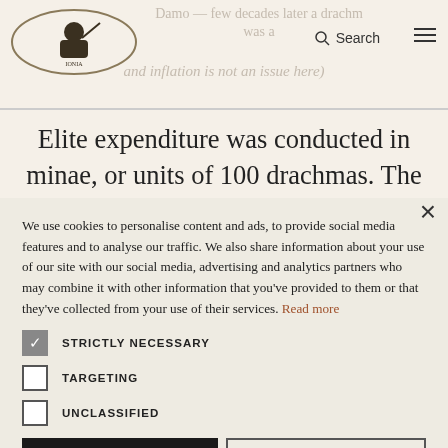Logo and navigation bar with Search and hamburger menu
Elite expenditure was conducted in minae, or units of 100 drachmas. The mina was the denomination
We use cookies to personalise content and ads, to provide social media features and to analyse our traffic. We also share information about your use of our site with our social media, advertising and analytics partners who may combine it with other information that you've provided to them or that they've collected from your use of their services. Read more
STRICTLY NECESSARY
TARGETING
UNCLASSIFIED
ACCEPT ALL
DECLINE ALL
SHOW DETAILS